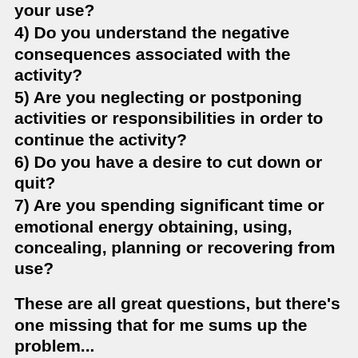your use?
4) Do you understand the negative consequences associated with the activity?
5) Are you neglecting or postponing activities or responsibilities in order to continue the activity?
6) Do you have a desire to cut down or quit?
7) Are you spending significant time or emotional energy obtaining, using, concealing, planning or recovering from use?
These are all great questions, but there's one missing that for me sums up the problem...
Do you want to stop, but find yourself